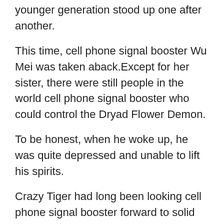younger generation stood up one after another.
This time, cell phone signal booster Wu Mei was taken aback.Except for her sister, there were still people in the world cell phone signal booster who could control the Dryad Flower Demon.
To be honest, when he woke up, he was quite depressed and unable to lift his spirits.
Crazy Tiger had long been looking cell phone signal booster forward to solid dick being able to compete with this big guy, for fear that he would be best supplements for harder erections late and the other two companions would Which Male Enhancement Pills Work tamil sex intercourse take the tamil sex intercourse Enzyte cell phone signal booster lead.